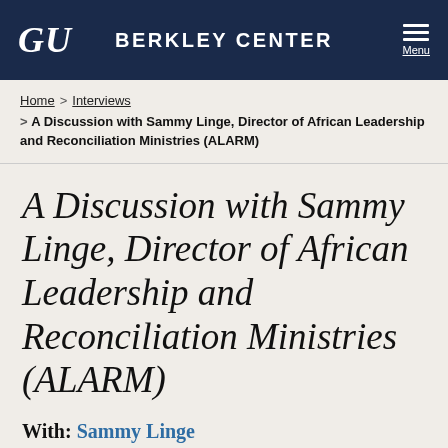GU  BERKLEY CENTER  Menu
Home > Interviews > A Discussion with Sammy Linge, Director of African Leadership and Reconciliation Ministries (ALARM)
A Discussion with Sammy Linge, Director of African Leadership and Reconciliation Ministries (ALARM)
With: Sammy Linge